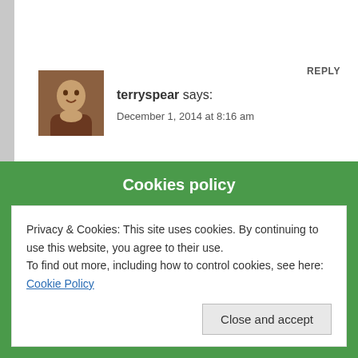REPLY
terryspear says:
December 1, 2014 at 8:16 am
Tom, I think it was, wait a few minutes. 🙂 LOL. It's way too cold from what it was last night! The winds began to howl and it sounded like rain. I have a puddle of water on my driveway this morning, so must have rained.

I get more done if I have more to do. 🙂 Although when I really get into a book, I get
Cookies policy
Privacy & Cookies: This site uses cookies. By continuing to use this website, you agree to their use.
To find out more, including how to control cookies, see here: Cookie Policy
Close and accept